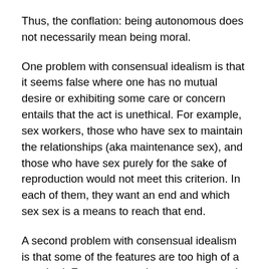Thus, the conflation: being autonomous does not necessarily mean being moral.
One problem with consensual idealism is that it seems false where one has no mutual desire or exhibiting some care or concern entails that the act is unethical. For example, sex workers, those who have sex to maintain the relationships (aka maintenance sex), and those who have sex purely for the sake of reproduction would not meet this criterion. In each of them, they want an end and which sex sex is a means to reach that end.
A second problem with consensual idealism is that some of the features are too high of a standard. For one example, suppose a newly couple wants to have sex. We can even assume that there is strong chemistry, and they consent to having sex. However, once they start, there is a